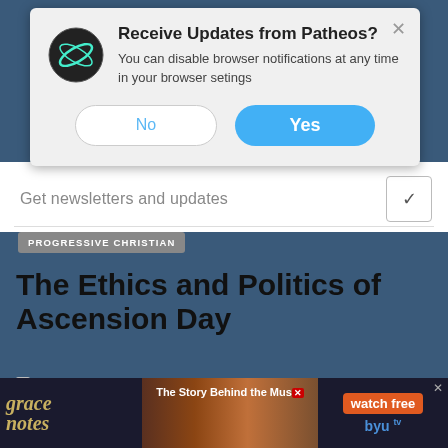[Figure (screenshot): Browser notification popup from Patheos website asking 'Receive Updates from Patheos?' with No and Yes buttons, overlaid on a Patheos article page about 'The Ethics and Politics of Ascension Day' by Bruce Epperly, dated May 21, 2022. Also shows a grace notes advertisement banner at the bottom.]
Receive Updates from Patheos?
You can disable browser notifications at any time in your browser setings
No
Yes
Get newsletters and updates
PROGRESSIVE CHRISTIAN
The Ethics and Politics of Ascension Day
MAY 21, 2022 BY BRUCE EPPERLY
COMMENTS